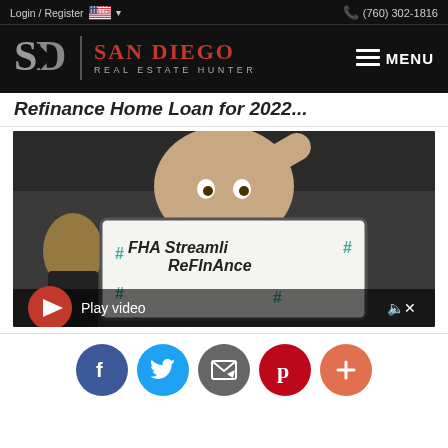Login / Register  (760) 302-1816
[Figure (logo): San Diego Real Estate Hunter logo with SD initials and red text on black background]
Refinance Home Loan for 2022...
[Figure (screenshot): Video thumbnail showing a person holding a whiteboard with 'FHA Streamline Refinance' written on it, with a red play button and 'Play video' text overlay]
[Figure (infographic): Social sharing buttons row: Facebook (blue), Twitter (light blue), Email (dark gray), Pinterest (red), More/Plus (orange-red)]